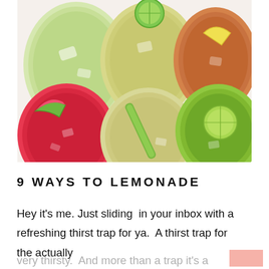[Figure (photo): Overhead view of six glasses of various lemonade drinks on a white surface, including watermelon (red), cucumber (green), and yellow lemonade varieties with garnishes.]
9 WAYS TO LEMONADE
Hey it's me. Just sliding  in your inbox with a refreshing thirst trap for ya.  A thirst trap for the actually
very thirsty.  And more than a trap it's a solution.  Lemonade.  All kinda